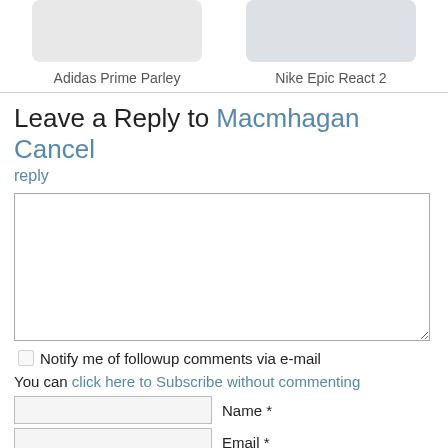[Figure (photo): Two shoe images side by side: Adidas Prime Parley on the left, Nike Epic React 2 on the right]
Adidas Prime Parley
Nike Epic React 2
Leave a Reply to Macmhagan Cancel reply
[Figure (screenshot): Comment text area input box]
Notify me of followup comments via e-mail
You can click here to Subscribe without commenting
Name *
Email *
Website